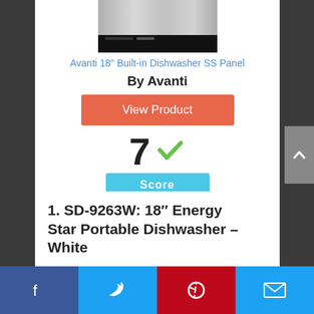[Figure (photo): Top portion of an Avanti 18-inch built-in dishwasher with stainless steel panel, showing the top of the appliance]
Avanti 18" Built-in Dishwasher SS Panel
By Avanti
[Figure (other): Orange 'View Product' button]
[Figure (other): Score display showing '7' with a green checkmark and a cyan 'Score' badge below]
1. SD-9263W: 18″ Energy Star Portable Dishwasher – White
[Figure (other): Social sharing bar with Facebook, Twitter, Pinterest, and email icons]